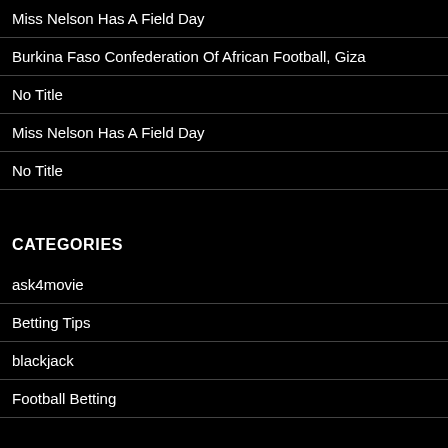Miss Nelson Has A Field Day
Burkina Faso Confederation Of African Football, Giza
No Title
Miss Nelson Has A Field Day
No Title
CATEGORIES
ask4movie
Betting Tips
blackjack
Football Betting